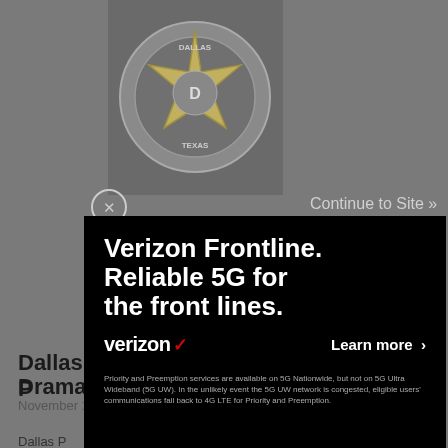[Figure (photo): Dallas police or sheriff badge/star logo, partially visible at top center of page, appears to be a Texas star badge with 'DALLAS' and 'TEXAS' text]
Continue to Site »
Dallas P... rop Drama...
Dallas P... s shift toward ... excessive... r this year, 13... est number...
[Figure (screenshot): Verizon Frontline advertisement overlay on black background. Headline: 'Verizon Frontline. Reliable 5G for the front lines.' Verizon logo with red checkmark. 'Learn more >' button. Disclaimer text about Priority and Preemption services.]
November 17, 2015